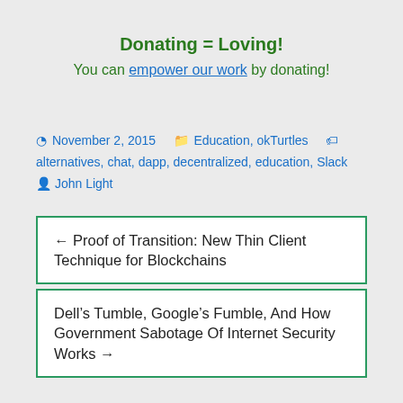Donating = Loving!
You can empower our work by donating!
November 2, 2015  Education, okTurtles  alternatives, chat, dapp, decentralized, education, Slack  John Light
← Proof of Transition: New Thin Client Technique for Blockchains
Dell's Tumble, Google's Fumble, And How Government Sabotage Of Internet Security Works →